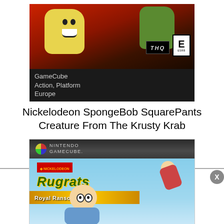[Figure (photo): GameCube game box art for Nickelodeon SpongeBob SquarePants Creature From The Krusty Krab. Shows SpongeBob and other characters in action on a dark red background. THQ logo and E (Everyone) ESRB rating visible. Black bar at bottom reads: GameCube / Action, Platform / Europe]
Nickelodeon SpongeBob SquarePants Creature From The Krusty Krab
[Figure (photo): GameCube game box art for Rugrats Royal Ransom. Shows Nintendo GameCube header, Rugrats logo in green, Royal Ransom banner in gold, and cartoon characters including Tommy Pickles in blue outfit and another character flying. Blue sky background.]